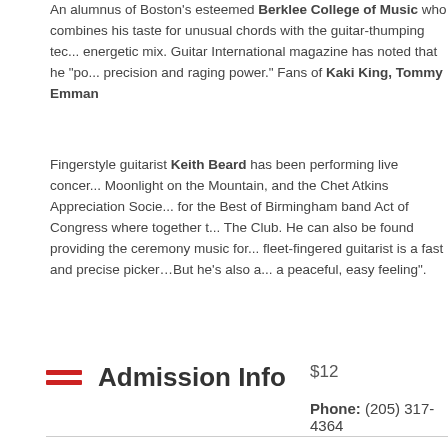An alumnus of Boston's esteemed Berklee College of Music who combines his taste for unusual chords with the guitar-thumping technique for an energetic mix. Guitar International magazine has noted that he "po... precision and raging power." Fans of Kaki King, Tommy Emman...
Fingerstyle guitarist Keith Beard has been performing live concer... Moonlight on the Mountain, and the Chet Atkins Appreciation Socie... for the Best of Birmingham band Act of Congress where together t... The Club. He can also be found providing the ceremony music for... fleet-fingered guitarist is a fast and precise picker…But he's also a... a peaceful, easy feeling".
Admission Info
$12
Phone: (205) 317-4364
Dates & Times
Dates: 2017/04...
Additional time info:
doors open at 6:45 pm